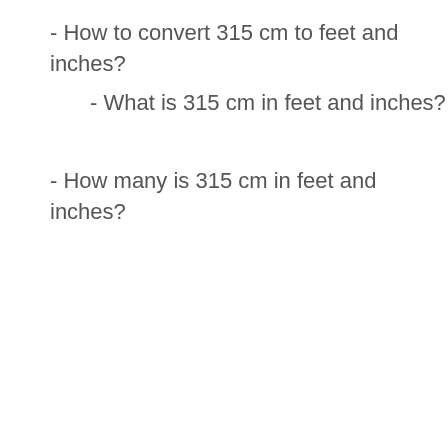- How to convert 315 cm to feet and inches?
- What is 315 cm in feet and inches?
- How many is 315 cm in feet and inches?